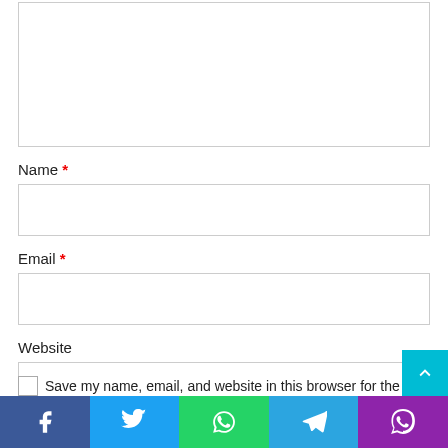Name *
Email *
Website
Save my name, email, and website in this browser for the nex